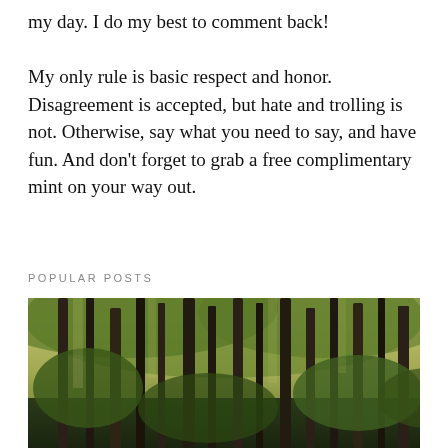my day. I do my best to comment back!

My only rule is basic respect and honor. Disagreement is accepted, but hate and trolling is not. Otherwise, say what you need to say, and have fun. And don't forget to grab a free complimentary mint on your way out.
POPULAR POSTS
[Figure (photo): A forest photograph showing tall, slender trees with dark trunks, green foliage canopy, and light filtering through from behind, giving a warm, slightly vintage tone.]